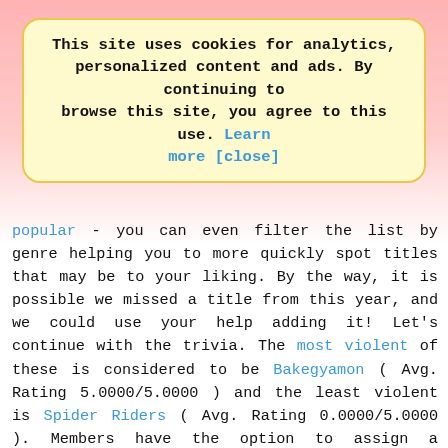This site uses cookies for analytics, personalized content and ads. By continuing to browse this site, you agree to this use. Learn more [close]
popular - you can even filter the list by genre helping you to more quickly spot titles that may be to your liking. By the way, it is possible we missed a title from this year, and we could use your help adding it! Let's continue with the trivia. The most violent of these is considered to be Bakegyamon ( Avg. Rating 5.0000/5.0000 ) and the least violent is Spider Riders ( Avg. Rating 0.0000/5.0000 ). Members have the option to assign a violence rating to their favorite series. The series with the most characters is Gintama ( 165 characters ) and the series with the fewest is Fate / stay night ( 1 characters ). Most titles have at least 10 characters by their final episode. We can always use help